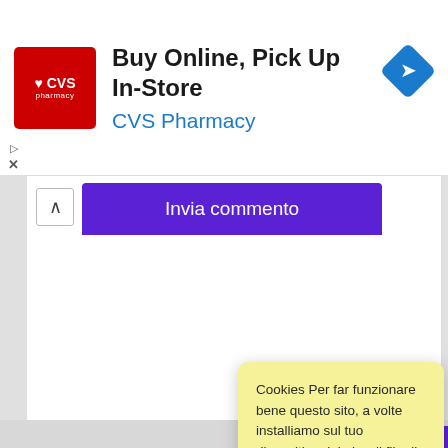[Figure (screenshot): CVS Pharmacy advertisement banner: red logo with heart and CVS pharmacy text, bold headline 'Buy Online, Pick Up In-Store', blue subtitle 'CVS Pharmacy', blue diamond navigation icon on right]
Invia commento
Cookies Per far funzionare bene questo sito, a volte installiamo sul tuo dispositivo dei piccoli file di dati che si chiamano "cookies". Anche la maggior parte dei grandi siti fanno lo stesso.
Accept
Read more
Change Settings
Conto Wi... Eur